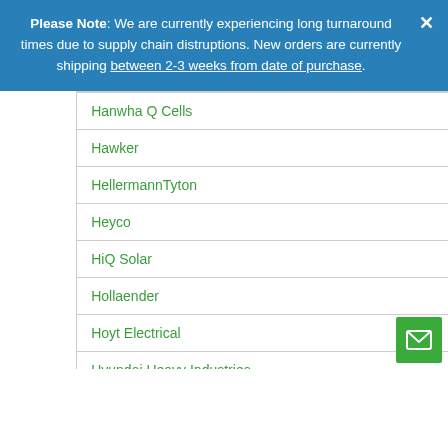Please Note: We are currently experiencing long turnaround times due to supply chain distruptions. New orders are currently shipping between 2-3 weeks from date of purchase.
Hanwha Q Cells
Hawker
HellermannTyton
Heyco
HiQ Solar
Hollaender
Hoyt Electrical
Hyundai Heavy Industries
Ideal Industries
Ilsco
Innovative Solar
IOTA Engineering